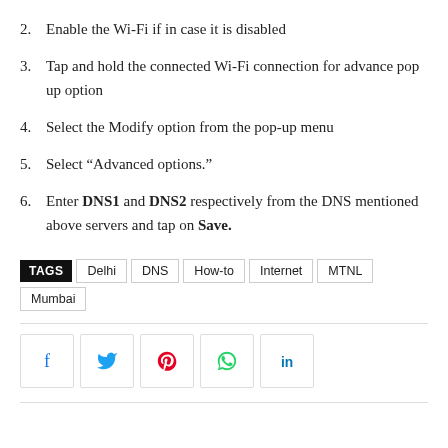2. Enable the Wi-Fi if in case it is disabled
3. Tap and hold the connected Wi-Fi connection for advance pop up option
4. Select the Modify option from the pop-up menu
5. Select “Advanced options.”
6. Enter DNS1 and DNS2 respectively from the DNS mentioned above servers and tap on Save.
TAGS  Delhi  DNS  How-to  Internet  MTNL  Mumbai
[Figure (infographic): Social sharing buttons: Facebook, Twitter, Pinterest, WhatsApp, LinkedIn]